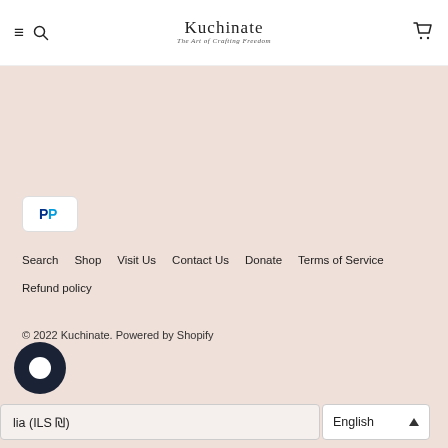Kuchinate – The Art of Crafting Freedom
[Figure (logo): PayPal payment badge icon]
Search  Shop  Visit Us  Contact Us  Donate  Terms of Service  Refund policy
© 2022 Kuchinate. Powered by Shopify
Israel (ILS ₪)
English